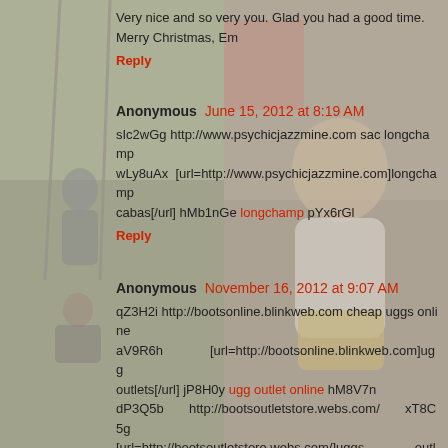[Figure (photo): Background photos of children on swings and a baby laughing, overlaid with semi-transparent gray wash]
Very nice and so very you. Glad you had a good time. Merry Christmas, Em
Reply
Anonymous June 15, 2012 at 8:19 AM
sIc2wGg http://www.psychicjazzmine.com sac longchamp wLy8uAx [url=http://www.psychicjazzmine.com]longchamp cabas[/url] hMb1nGe longchamp pYx6rGl
Reply
Anonymous November 16, 2012 at 9:07 AM
qZ3H2i http://bootsonline.blinkweb.com cheap uggs online aV9R6h [url=http://bootsonline.blinkweb.com]ugg outlets[/url] jP8H0y ugg outlet online hM8V7n dP3Q5b http://bootsoutletstore.webs.com/ xT8C5g [url=http://bootsoutletstore.webs.com/]uggs outlet stores[/url] uQ4T5o uggs outlet store xT6S9h eM7P5q http://genuineboot.webeden.co.uk yV2W6g[url=http://genuineboot.webeden.co.uk]genuine